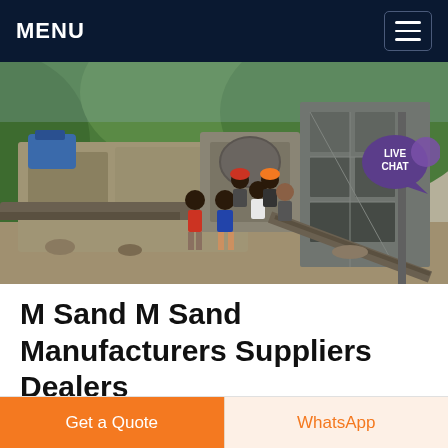MENU
[Figure (photo): Workers standing in front of large industrial sand/stone crushing machinery at a quarry site, surrounded by tropical greenery. A 'LIVE CHAT' bubble is overlaid in the top-right corner of the image.]
M Sand M Sand Manufacturers Suppliers Dealers
Get a Quote
WhatsApp